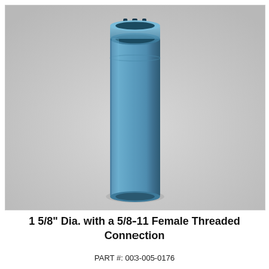[Figure (photo): A blue cylindrical core drill bit with a 1 5/8 inch diameter, shown vertically oriented. The top of the bit has a crown with small slotted segments. The body is a smooth, round blue cylinder. The image is set against a light gray background.]
1 5/8" Dia. with a 5/8-11 Female Threaded Connection
PART #: 003-005-0176